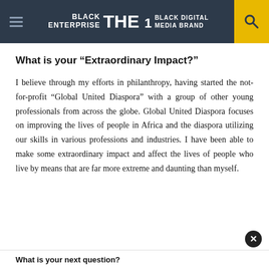BLACK ENTERPRISE THE #1 BLACK DIGITAL MEDIA BRAND
What is your “Extraordinary Impact?”
I believe through my efforts in philanthropy, having started the not-for-profit “Global United Diaspora” with a group of other young professionals from across the globe. Global United Diaspora focuses on improving the lives of people in Africa and the diaspora utilizing our skills in various professions and industries. I have been able to make some extraordinary impact and affect the lives of people who live by means that are far more extreme and daunting than myself.
What is your next question?